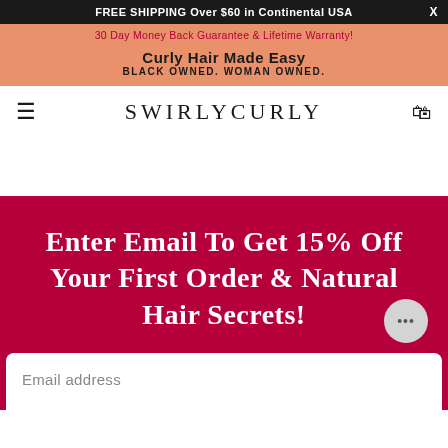FREE SHIPPING Over $60 in Continental USA  X
30 Day Money Back Guarantee & Lifetime Warranty!
Curly Hair Made Easy BLACK OWNED. WOMAN OWNED.
SWIRLYCURLY
Enter Email To Get 15% Off Your First Order & Natural Hair Secrets!
Email address